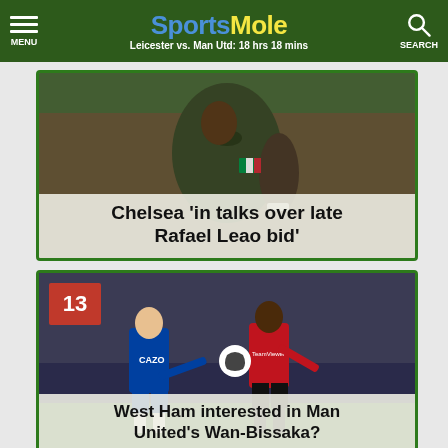SportsMole - Leicester vs. Man Utd: 18 hrs 18 mins
[Figure (photo): Football player in dark green AC Milan kit, close-up showing torso and arm with Italian flag badge]
Chelsea 'in talks over late Rafael Leao bid'
[Figure (photo): Two footballers competing for the ball - one in blue Everton kit (Cazo sponsor) and one in red Manchester United kit, number 13 badge in corner]
West Ham interested in Man United's Wan-Bissaka?